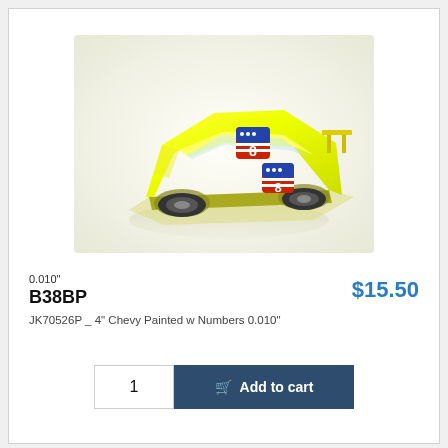[Figure (photo): Yellow RC car body shell (1/4 scale Chevy) with patriotic number decals, shown on a white background]
0.010"
B38BP
$15.50
JK70526P _ 4" Chevy Painted w Numbers 0.010"
1
Add to cart